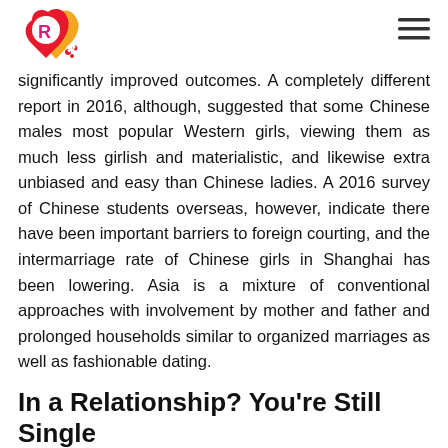[Figure (logo): Heart-shaped logo with letter R, red and orange colors with floral decoration]
significantly improved outcomes. A completely different report in 2016, although, suggested that some Chinese males most popular Western girls, viewing them as much less girlish and materialistic, and likewise extra unbiased and easy than Chinese ladies. A 2016 survey of Chinese students overseas, however, indicate there have been important barriers to foreign courting, and the intermarriage rate of Chinese girls in Shanghai has been lowering. Asia is a mixture of conventional approaches with involvement by mother and father and prolonged households similar to organized marriages as well as fashionable dating.
In a Relationship? You're Still Single
As a lot as the media loves to push the concept of girls playing onerous to get, men fall in love with girls who're much more open to the concept of affection. Women who know what they need in a